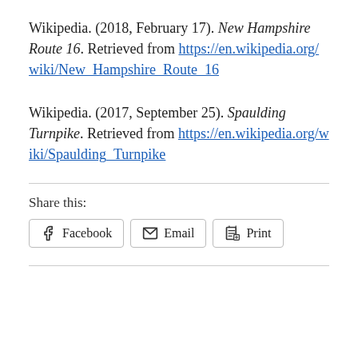Wikipedia. (2018, February 17). New Hampshire Route 16. Retrieved from https://en.wikipedia.org/wiki/New_Hampshire_Route_16
Wikipedia. (2017, September 25). Spaulding Turnpike. Retrieved from https://en.wikipedia.org/wiki/Spaulding_Turnpike
Share this:
Facebook  Email  Print